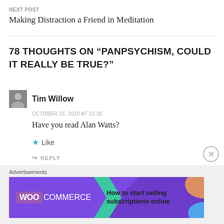NEXT POST
Making Distraction a Friend in Meditation
78 THOUGHTS ON “PANPSYCHISM, COULD IT REALLY BE TRUE?”
Tim Willow
OCTOBER 15, 2018 AT 15:30
Have you read Alan Watts?
Like
REPLY
[Figure (infographic): WooCommerce advertisement banner: How to start selling subscriptions online]
Advertisements